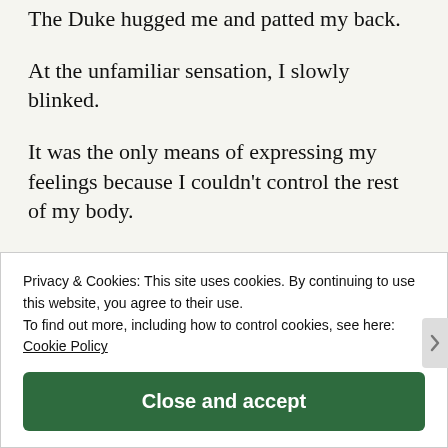The Duke hugged me and patted my back.
At the unfamiliar sensation, I slowly blinked.
It was the only means of expressing my feelings because I couldn't control the rest of my body.
She bowed her head and kissed my forehead.
Something soft rubbed my forehead and halted b...
Privacy & Cookies: This site uses cookies. By continuing to use this website, you agree to their use.
To find out more, including how to control cookies, see here: Cookie Policy
Close and accept